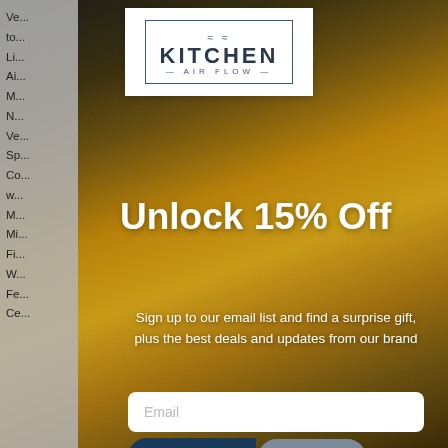[Figure (screenshot): Kitchen range hood promotional modal popup overlay on a mosaic tile background. Contains a Kitchen Airflow logo, '15% Off' promotion headline, email signup form, and action buttons.]
Unlock 15% Off
Sign up to our email list and find a surprise gift, plus the best deals and updates from our brand
Email
Unlock Now
Chat with us
By signing up I agree to receive email marketing